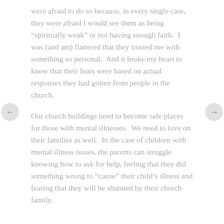were afraid to do so because, in every single case, they were afraid I would see them as being “spiritually weak” or not having enough faith.  I was (and am) flattered that they trusted me with something so personal.  And it broke my heart to know that their fears were based on actual responses they had gotten from people in the church.
Our church buildings need to become safe places for those with mental illnesses.  We need to love on their families as well.  In the case of children with mental illness issues, the parents can struggle knowing how to ask for help, feeling that they did something wrong to “cause” their child’s illness and fearing that they will be shunned by their church family.